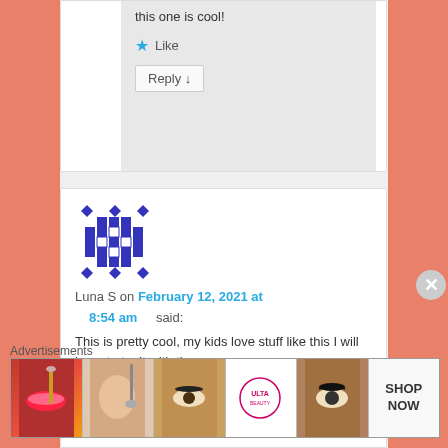this one is cool!
★ Like
Reply ↓
[Figure (illustration): Pixel art avatar — blue geometric diamond/cross pattern on white background]
Luna S on February 12, 2021 at 8:54 am said:
This is pretty cool, my kids love stuff like this I will have to try it with them.
Advertisements
[Figure (illustration): ULTA beauty advertisement banner with makeup/cosmetics imagery and SHOP NOW text]